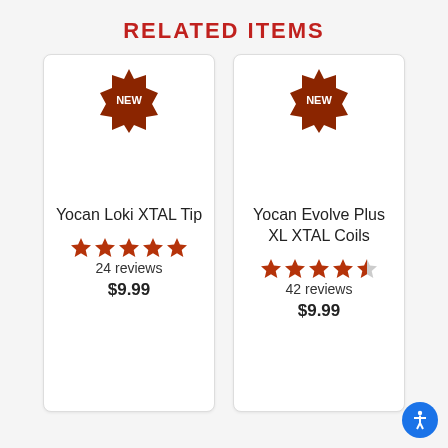RELATED ITEMS
[Figure (other): Product card for Yocan Loki XTAL Tip with NEW badge, 5-star rating, 24 reviews, $9.99]
[Figure (other): Product card for Yocan Evolve Plus XL XTAL Coils with NEW badge, 4.5-star rating, 42 reviews, $9.99]